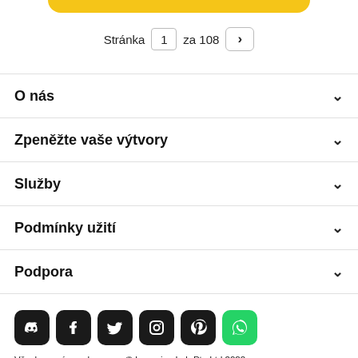[Figure (other): Yellow rounded button bar at top]
Stránka 1 za 108 >
O nás
Zpeněžte vaše výtvory
Služby
Podmínky užití
Podpora
[Figure (other): Social media icons row: Discord, Facebook, Twitter, Instagram, Pinterest, WhatsApp]
Všechna práva vyhrazena. © Inmagine Lab Pte Ltd 2022.